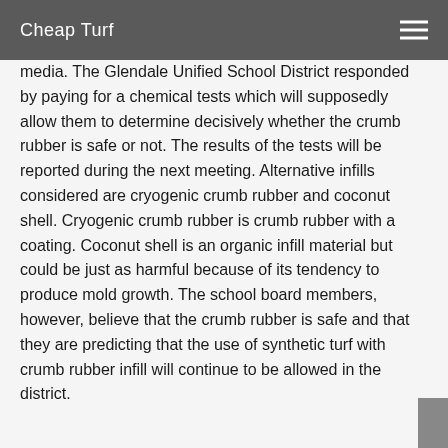Cheap Turf
media. The Glendale Unified School District responded by paying for a chemical tests which will supposedly allow them to determine decisively whether the crumb rubber is safe or not. The results of the tests will be reported during the next meeting. Alternative infills considered are cryogenic crumb rubber and coconut shell. Cryogenic crumb rubber is crumb rubber with a coating. Coconut shell is an organic infill material but could be just as harmful because of its tendency to produce mold growth. The school board members, however, believe that the crumb rubber is safe and that they are predicting that the use of synthetic turf with crumb rubber infill will continue to be allowed in the district.